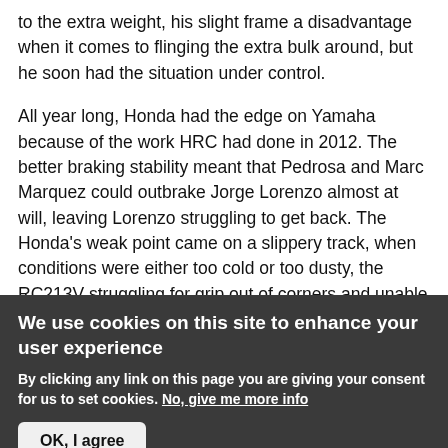to the extra weight, his slight frame a disadvantage when it comes to flinging the extra bulk around, but he soon had the situation under control.
All year long, Honda had the edge on Yamaha because of the work HRC had done in 2012. The better braking stability meant that Pedrosa and Marc Marquez could outbrake Jorge Lorenzo almost at will, leaving Lorenzo struggling to get back. The Honda's weak point came on a slippery track, when conditions were either too cold or too dusty, the RC213V struggling for grip out of corners and unable to carry corner speed. Interestingly, Dani Pedrosa seemed to have more problems in low grip than Marc Marquez. Pedrosa...
We use cookies on this site to enhance your user experience
By clicking any link on this page you are giving your consent for us to set cookies. No, give me more info
OK, I agree